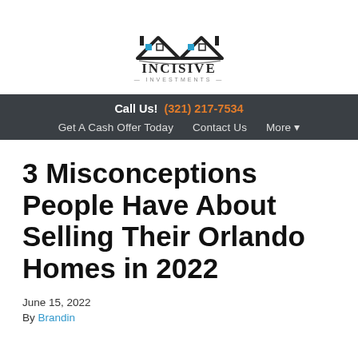[Figure (logo): Incisive Investments logo with stylized house rooftops in blue and black, with company name 'INCISIVE INVESTMENTS' below]
Call Us! (321) 217-7534
Get A Cash Offer Today   Contact Us   More ▾
3 Misconceptions People Have About Selling Their Orlando Homes in 2022
June 15, 2022
By Brandin